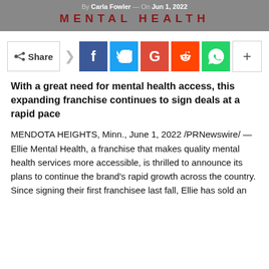By Carla Fowler — On Jun 1, 2022
MENTAL HEALTH
[Figure (infographic): Social share bar with Share button, Facebook, Twitter, Google+, Reddit, WhatsApp, and more (+) icons]
With a great need for mental health access, this expanding franchise continues to sign deals at a rapid pace
MENDOTA HEIGHTS, Minn., June 1, 2022 /PRNewswire/ — Ellie Mental Health, a franchise that makes quality mental health services more accessible, is thrilled to announce its plans to continue the brand's rapid growth across the country. Since signing their first franchisee last fall, Ellie has sold an